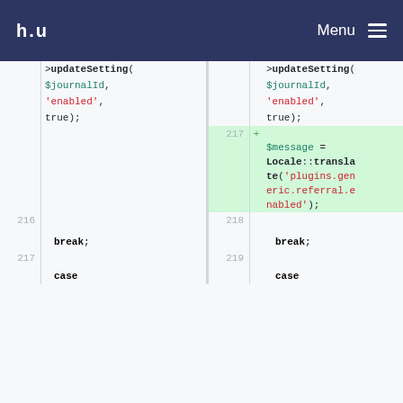h.u  Menu
[Figure (screenshot): A side-by-side code diff view showing PHP code. Left side shows original code with line numbers 216, 217. Right side shows modified code with line numbers 217, 218, 219. The added line 217 on the right introduces a $message = Locale::translate('plugins.generic.referral.enabled'); statement highlighted in green. Both sides show >updateSetting($journalId, 'enabled', true); at the top, and break; and case at the bottom.]